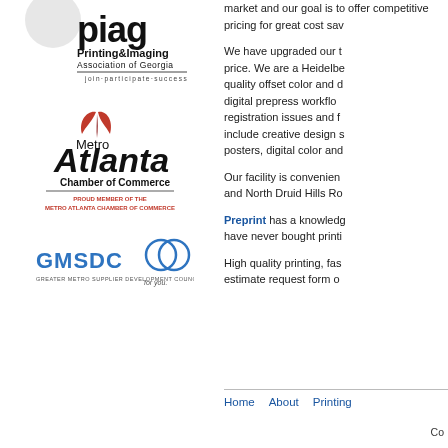[Figure (logo): Printing & Imaging Association of Georgia logo with bold 'piag' text and tagline 'join·participate·succeed']
[Figure (logo): Metro Atlanta Chamber of Commerce logo with flame/leaf icon and text 'Proud Member of the Metro Atlanta Chamber of Commerce']
[Figure (logo): GMSDC logo with blue text and circular icon]
market and our goal is to offer competitive pricing for great cost sav
We have upgraded our t price. We are a Heidelbe quality offset color and d digital prepress workflo registration issues and f include creative design s posters, digital color and
Our facility is convenien and North Druid Hills Ro
Preprint has a knowledg have never bought printi
High quality printing, fas estimate request form o
Home   About   Printing
Co